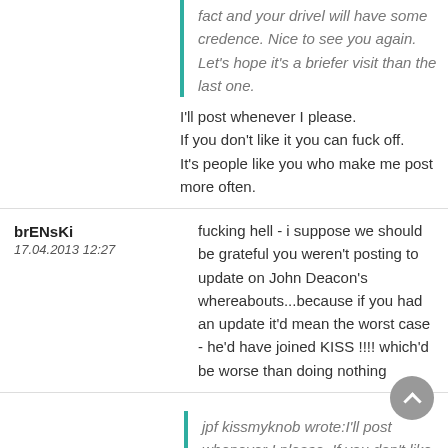fact and your drivel will have some credence. Nice to see you again. Let's hope it's a briefer visit than the last one.
I'll post whenever I please.
If you don't like it you can fuck off.
It's people like you who make me post more often.
brENsKi
17.04.2013 12:27
fucking hell - i suppose we should be grateful you weren't posting to update on John Deacon's whereabouts...because if you had an update it'd mean the worst case - he'd have joined KISS !!!! which'd be worse than doing nothing
jpf kissmyknob wrote: I'll post whenever I please. If you don't like it you can